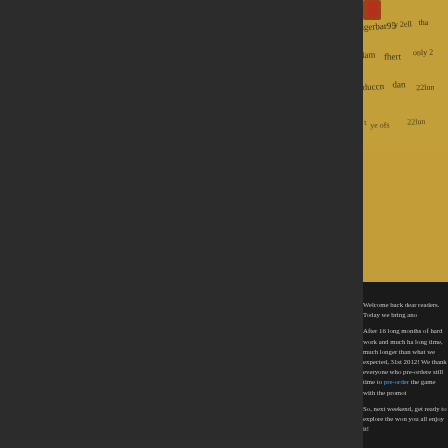[Figure (photo): Parchment or aged paper with handwritten medieval-style cursive text in black ink on a yellowed/golden brown background, partially cropped]
Welcome back dear readers. Today we bring ano
After 16 long months of hard work and much ha long time, much longer than what we expected, 31st 2012! We thank everyone who pre-ordered still time to pre-order the game with the promot
So, next weekend, get ready to explore the won you all enjoy it!
« Older Entries
RSS Feeds
RSS
Comment RSS
Categories
Aduge